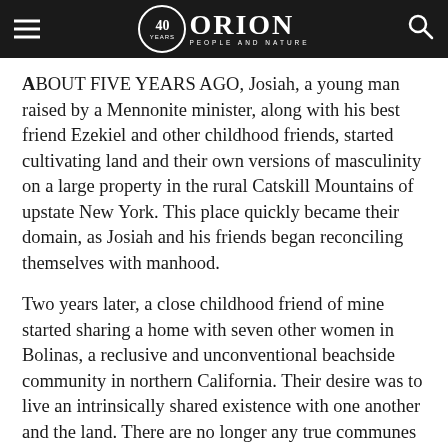ORION — 40 Years — People and Nature
ABOUT FIVE YEARS AGO, Josiah, a young man raised by a Mennonite minister, along with his best friend Ezekiel and other childhood friends, started cultivating land and their own versions of masculinity on a large property in the rural Catskill Mountains of upstate New York. This place quickly became their domain, as Josiah and his friends began reconciling themselves with manhood.
Two years later, a close childhood friend of mine started sharing a home with seven other women in Bolinas, a reclusive and unconventional beachside community in northern California. Their desire was to live an intrinsically shared existence with one another and the land. There are no longer any true communes in Bolinas, but that same mentality, with its gentle and near-religious connection to the landscape, persists.